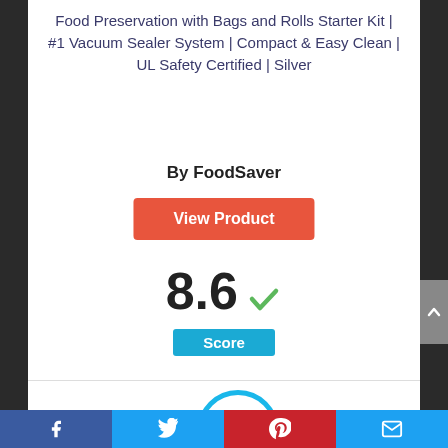Food Preservation with Bags and Rolls Starter Kit | #1 Vacuum Sealer System | Compact & Easy Clean | UL Safety Certified | Silver
By FoodSaver
[Figure (other): Orange 'View Product' button]
8.6 ✓ Score
[Figure (other): Blue circle with number 6 inside]
Facebook | Twitter | Pinterest | Email social share bar